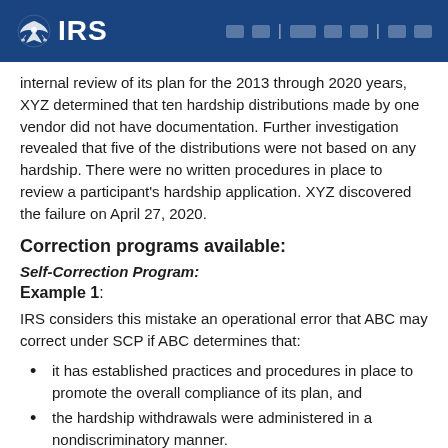IRS
internal review of its plan for the 2013 through 2020 years, XYZ determined that ten hardship distributions made by one vendor did not have documentation. Further investigation revealed that five of the distributions were not based on any hardship. There were no written procedures in place to review a participant's hardship application. XYZ discovered the failure on April 27, 2020.
Correction programs available:
Self-Correction Program:
Example 1:
IRS considers this mistake an operational error that ABC may correct under SCP if ABC determines that:
it has established practices and procedures in place to promote the overall compliance of its plan, and
the hardship withdrawals were administered in a nondiscriminatory manner.